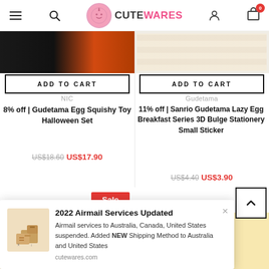CuteWares — navigation header with menu, search, logo, user, cart
[Figure (screenshot): Product image left — dark/orange Halloween themed product]
ADD TO CART
NIC
8% off | Gudetama Egg Squishy Toy Halloween Set
US$18.60  US$17.90
[Figure (screenshot): Product image right — Gudetama sticker sheet]
ADD TO CART
Gudetama
11% off | Sanrio Gudetama Lazy Egg Breakfast Series 3D Bulge Stationery Small Sticker
US$4.40  US$3.90
Sale
[Figure (screenshot): Bottom product images — Gudetama themed products]
2022 Airmail Services Updated
Airmail services to Australia, Canada, United States suspended. Added NEW Shipping Method to Australia and United States
cutewares.com